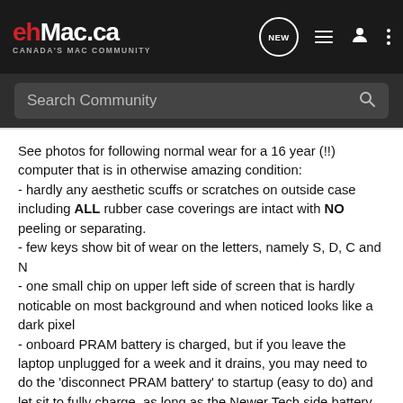ehMac.ca — CANADA'S MAC COMMUNITY
Search Community
See photos for following normal wear for a 16 year (!!) computer that is in otherwise amazing condition:
- hardly any aesthetic scuffs or scratches on outside case including ALL rubber case coverings are intact with NO peeling or separating.
- few keys show bit of wear on the letters, namely S, D, C and N
- one small chip on upper left side of screen that is hardly noticable on most background and when noticed looks like a dark pixel
- onboard PRAM battery is charged, but if you leave the laptop unplugged for a week and it drains, you may need to do the 'disconnect PRAM battery' to startup (easy to do) and let sit to fully charge, as long as the Newer Tech side battery is charged